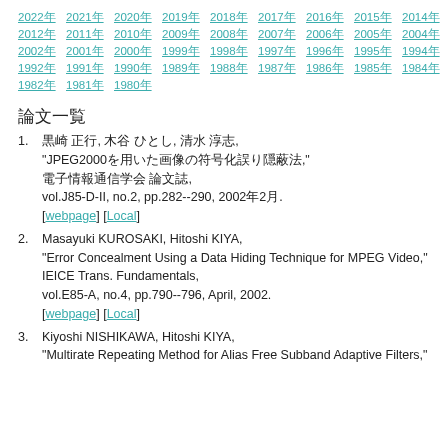2022年 2021年 2020年 2019年 2018年 2017年 2016年 2015年 2014年 2013年
2012年 2011年 2010年 2009年 2008年 2007年 2006年 2005年 2004年 2003年
2002年 2001年 2000年 1999年 1998年 1997年 1996年 1995年 1994年 1993年
1992年 1991年 1990年 1989年 1988年 1987年 1986年 1985年 1984年 1983年
1982年 1981年 1980年
論文一覧
黒崎 正行, 木谷 ひとし, 清水 淳志, "JPEG2000を用いた画像の符号化誤り隠蔽法," 電子情報通信学会 論文誌, vol.J85-D-II, no.2, pp.282--290, 2002年2月. [webpage] [Local]
Masayuki KUROSAKI, Hitoshi KIYA, "Error Concealment Using a Data Hiding Technique for MPEG Video," IEICE Trans. Fundamentals, vol.E85-A, no.4, pp.790--796, April, 2002. [webpage] [Local]
Kiyoshi NISHIKAWA, Hitoshi KIYA, "Multirate Repeating Method for Alias Free Subband Adaptive Filters,"